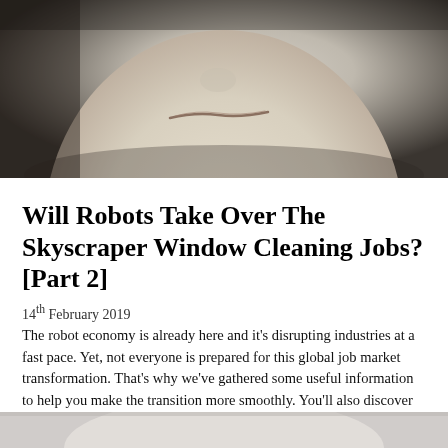[Figure (photo): Close-up photograph of a robot or mannequin face (lower half), showing a nose and lips area in pale ceramic/plastic tones against a dark background.]
Will Robots Take Over The Skyscraper Window Cleaning Jobs? [Part 2]
14th February 2019
The robot economy is already here and it's disrupting industries at a fast pace. Yet, not everyone is prepared for this global job market transformation. That's why we've gathered some useful information to help you make the transition more smoothly. You'll also discover what are the best skyscraper window cleaning robots at the moment and what's the next generation of robotic systems. Are you ready to adapt or perish?
Read More
[Figure (photo): Partial view of a second photograph visible at the bottom of the page.]